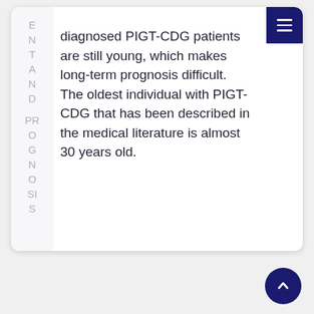E N T A N D P R O G N O S I S
diagnosed PIGT-CDG patients are still young, which makes long-term prognosis difficult. The oldest individual with PIGT-CDG that has been described in the medical literature is almost 30 years old.